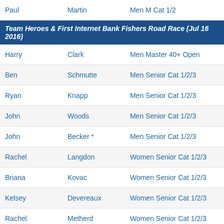| First | Last | Category |
| --- | --- | --- |
| Paul | Martin | Men M Cat 1/2 |
Team Heroes & First Internet Bank Fishers Road Race (Jul 16 2016)
| First | Last | Category |
| --- | --- | --- |
| Harry | Clark | Men Master 40+ Open |
| Ben | Schmutte | Men Senior Cat 1/2/3 |
| Ryan | Knapp | Men Senior Cat 1/2/3 |
| John | Woods | Men Senior Cat 1/2/3 |
| John | Becker * | Men Senior Cat 1/2/3 |
| Rachel | Langdon | Women Senior Cat 1/2/3 |
| Briana | Kovac | Women Senior Cat 1/2/3 |
| Kelsey | Devereaux | Women Senior Cat 1/2/3 |
| Rachel | Metherd | Women Senior Cat 1/2/3 |
Team Heroes & First Internet Bank Fishers Crit (Jul 16 2016)
| First | Last | Category |
| --- | --- | --- |
| Kelsey | Devereaux | Women Senior Cat 1/2/3 |
| Briana | Kovac | Women Senior Cat 1/2/3 |
| Rachel | Metherd | Women Senior Cat 1/2/3 |
| Jim | Creamer | Men Master 50+ Open |
| Harry | Clark | Men Master 40+ Open |